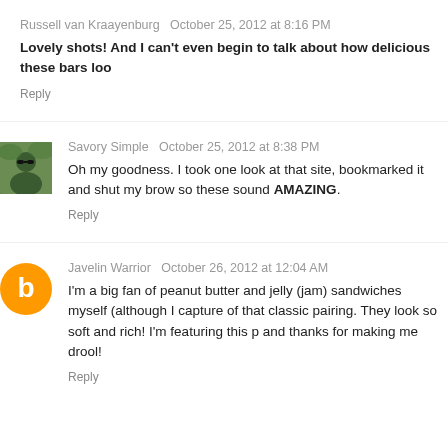Russell van Kraayenburg  October 25, 2012 at 8:16 PM
Lovely shots! And I can't even begin to talk about how delicious these bars loo
Reply
[Figure (photo): Avatar photo of Savory Simple commenter, person wearing sunglasses outdoors]
Savory Simple  October 25, 2012 at 8:38 PM
Oh my goodness. I took one look at that site, bookmarked it and shut my brow so these sound AMAZING.
Reply
[Figure (logo): Orange circle Blogger/Google avatar icon with white B letter]
Javelin Warrior  October 26, 2012 at 12:04 AM
I'm a big fan of peanut butter and jelly (jam) sandwiches myself (although I capture of that classic pairing. They look so soft and rich! I'm featuring this p and thanks for making me drool!
Reply